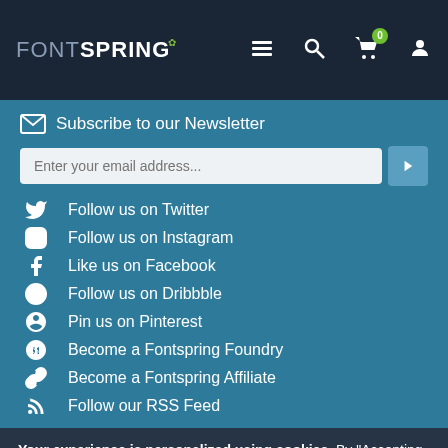FONTSPRING
Subscribe to our Newsletter
Follow us on Twitter
Follow us on Instagram
Like us on Facebook
Follow us on Dribbble
Pin us on Pinterest
Become a Fontspring Foundry
Become a Fontspring Affiliate
Follow our RSS Feed
Your experience is personalized using cookies. By “Accepting Cookies” you consent to cookies as stated in our cookie policy.
Accept Cookies